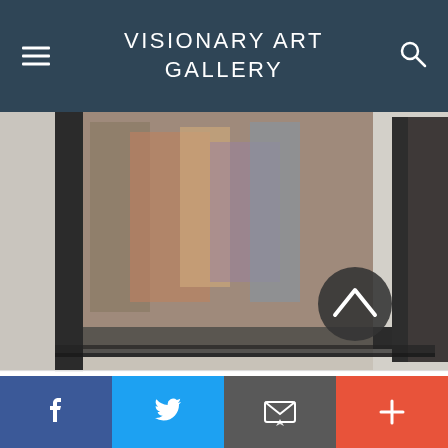VISIONARY ART GALLERY
[Figure (photo): Close-up of framed artworks hanging on a white gallery wall, shallow depth of field showing black frames and colorful/dark artwork interiors]
photography by Bartlomiej Stefko
[Figure (infographic): Social share bar with four buttons: Facebook (blue), Twitter (light blue), Email (dark grey), Plus (orange-red)]